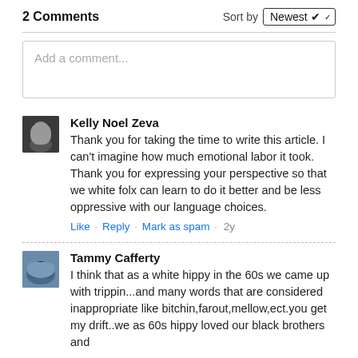2 Comments
Add a comment...
Kelly Noel Zeva
Thank you for taking the time to write this article. I can't imagine how much emotional labor it took. Thank you for expressing your perspective so that we white folx can learn to do it better and be less oppressive with our language choices.
Like · Reply · Mark as spam · 2y
Tammy Cafferty
I think that as a white hippy in the 60s we came up with trippin...and many words that are considered inappropriate like bitchin,farout,mellow,ect.you get my drift..we as 60s hippy loved our black brothers and